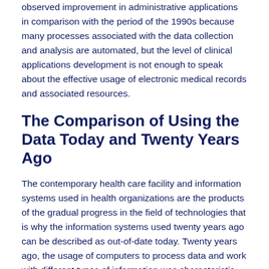observed improvement in administrative applications in comparison with the period of the 1990s because many processes associated with the data collection and analysis are automated, but the level of clinical applications development is not enough to speak about the effective usage of electronic medical records and associated resources.
The Comparison of Using the Data Today and Twenty Years Ago
The contemporary health care facility and information systems used in health organizations are the products of the gradual progress in the field of technologies that is why the information systems used twenty years ago can be described as out-of-date today. Twenty years ago, the usage of computers to process data and work with different types of information was characteristic for